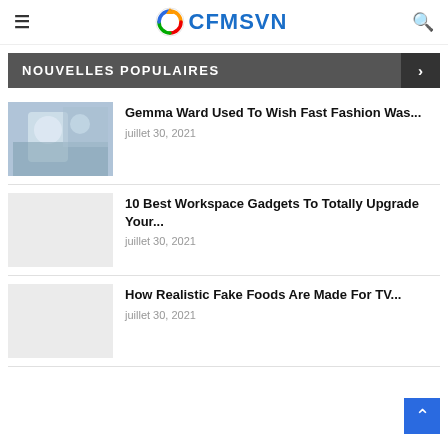CFMSVN
NOUVELLES POPULAIRES
[Figure (photo): Fashion photo showing white bag and winter clothing]
Gemma Ward Used To Wish Fast Fashion Was...
juillet 30, 2021
[Figure (photo): Placeholder thumbnail for workspace gadgets article]
10 Best Workspace Gadgets To Totally Upgrade Your...
juillet 30, 2021
[Figure (photo): Placeholder thumbnail for fake foods article]
How Realistic Fake Foods Are Made For TV...
juillet 30, 2021